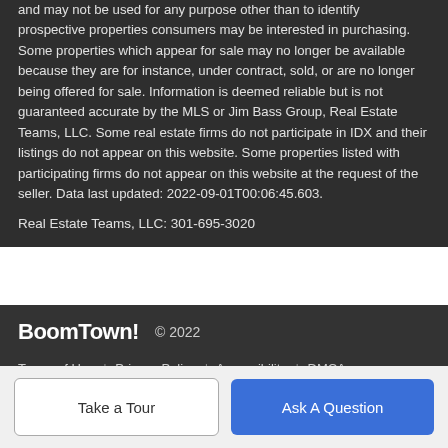and may not be used for any purpose other than to identify prospective properties consumers may be interested in purchasing. Some properties which appear for sale may no longer be available because they are for instance, under contract, sold, or are no longer being offered for sale. Information is deemed reliable but is not guaranteed accurate by the MLS or Jim Bass Group, Real Estate Teams, LLC. Some real estate firms do not participate in IDX and their listings do not appear on this website. Some properties listed with participating firms do not appear on this website at the request of the seller. Data last updated: 2022-09-01T00:06:45.603.
Real Estate Teams, LLC: 301-695-3020
BoomTown! © 2022 | Terms of Use | Privacy Policy | Accessibility | DMCA | Listings Sitemap
Take a Tour
Ask A Question